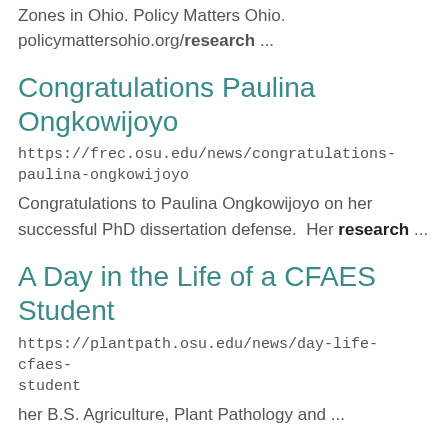Zones in Ohio.  Policy Matters Ohio. policymattersohio.org/research ...
Congratulations Paulina Ongkowijoyo
https://frec.osu.edu/news/congratulations-paulina-ongkowijoyo
Congratulations to Paulina Ongkowijoyo on her successful PhD dissertation defense.  Her research ...
A Day in the Life of a CFAES Student
https://plantpath.osu.edu/news/day-life-cfaes-student
her B.S. Agriculture, Plant Pathology and ...